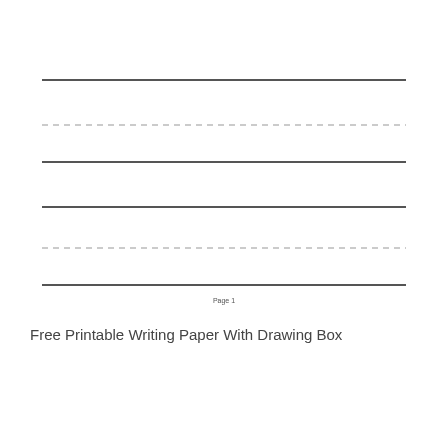[Figure (other): Printable writing paper with solid and dashed lines forming handwriting guides, with a 'Page 1' label at the bottom of the line area]
Free Printable Writing Paper With Drawing Box